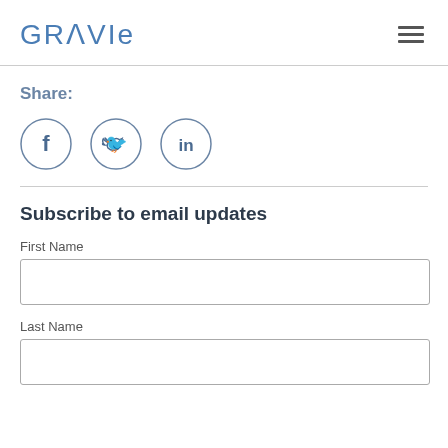[Figure (logo): Gravie logo in blue text with hamburger menu icon on the right]
Share:
[Figure (infographic): Three social media icons in circles: Facebook, Twitter, LinkedIn]
Subscribe to email updates
First Name
Last Name